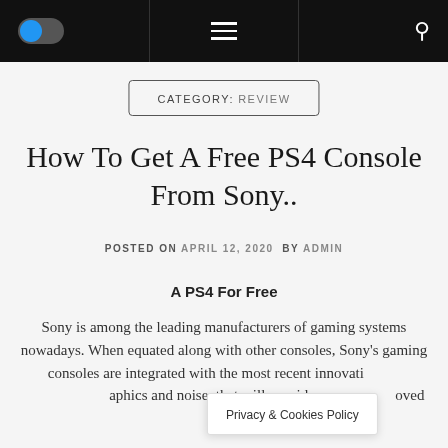Navigation bar with toggle switch, hamburger menu, and search icon
CATEGORY: REVIEW
How To Get A Free PS4 Console From Sony..
POSTED ON APRIL 12, 2020 BY ADMIN
A PS4 For Free
Sony is among the leading manufacturers of gaming systems nowadays. When equated along with other consoles, Sony's gaming consoles are integrated with the most recent innovations in technology, graphics and noise, that will provide loved ones
Privacy & Cookies Policy